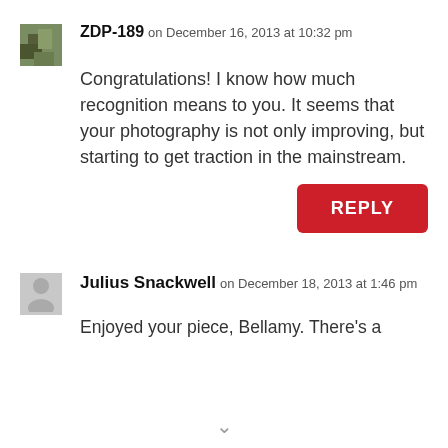ZDP-189 on December 16, 2013 at 10:32 pm
Congratulations! I know how much recognition means to you. It seems that your photography is not only improving, but starting to get traction in the mainstream.
REPLY
Julius Snackwell on December 18, 2013 at 1:46 pm
Enjoyed your piece, Bellamy. There’s a